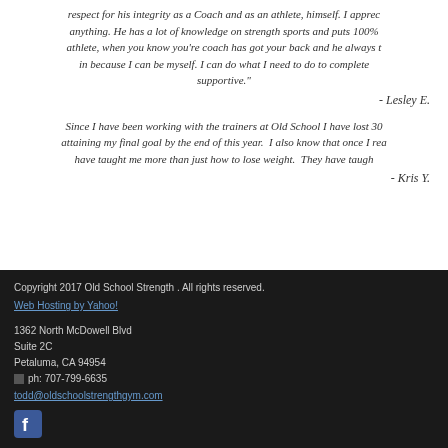respect for his integrity as a Coach and as an athlete, himself. I appreciate anything. He has a lot of knowledge on strength sports and puts 100% athlete, when you know you're coach has got your back and he always in because I can be myself. I can do what I need to do to complete supportive."
- Lesley E.
Since I have been working with the trainers at Old School I have lost 30 attaining my final goal by the end of this year. I also know that once I rea have taught me more than just how to lose weight. They have taugh
- Kris Y.
Copyright 2017 Old School Strength . All rights reserved.
Web Hosting by Yahoo!

1362 North McDowell Blvd
Suite 2C
Petaluma, CA 94954
ph: 707-799-6635
todd@oldschoolstrengthgym.com